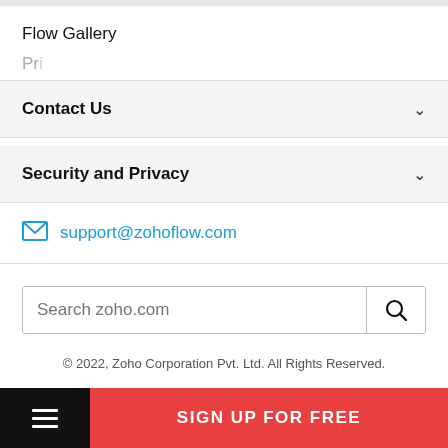Flow Gallery
Pr...
Contact Us
Security and Privacy
support@zohoflow.com
Search zoho.com
© 2022, Zoho Corporation Pvt. Ltd. All Rights Reserved.
SIGN UP FOR FREE